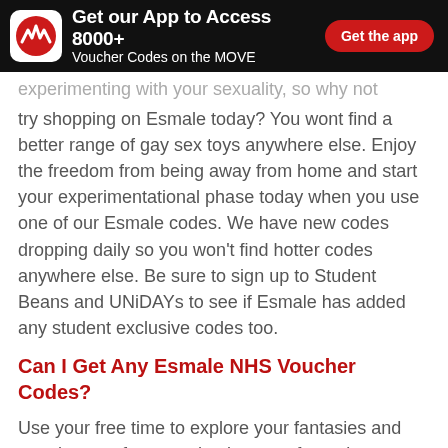Get our App to Access 8000+ Voucher Codes on the MOVE — Get the app
experimenting with your sexuality, so why not try shopping on Esmale today? You wont find a better range of gay sex toys anywhere else. Enjoy the freedom from being away from home and start your experimentational phase today when you use one of our Esmale codes. We have new codes dropping daily so you won't find hotter codes anywhere else. Be sure to sign up to Student Beans and UNiDAYs to see if Esmale has added any student exclusive codes too.
Can I Get Any Esmale NHS Voucher Codes?
Use your free time to explore your fantasies and get pleasure from purchasing your favourite sex toys from the Esmale site. While Esmale doesn't currently offer any NHS specific codes, this should it is impossible. We have plenty of f…